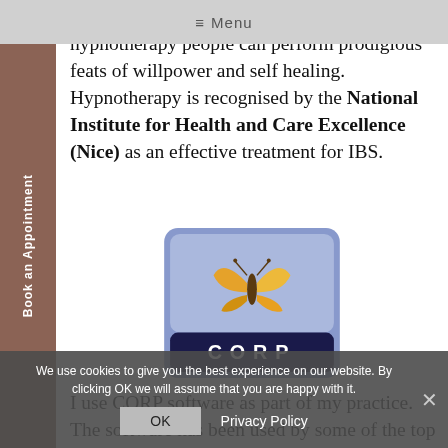≡ Menu
complementary therapy, by using hypnotherapy people can perform prodigious feats of willpower and self healing. Hypnotherapy is recognised by the National Institute for Health and Care Excellence (Nice) as an effective treatment for IBS.
[Figure (logo): CORP logo — blue/lilac rounded square background with golden butterfly graphic on top and dark navy banner reading 'CORP' in white spaced letters below]
I use CORP software as part of my practice. The software has been used by some of the top therapists in the U.K. but can be used by any professional looking to record their outcomes and increase the performance of their practice. Matthew Cahill is the Co-Founder of CORP and
We use cookies to give you the best experience on our website. By clicking OK we will assume that you are happy with it.